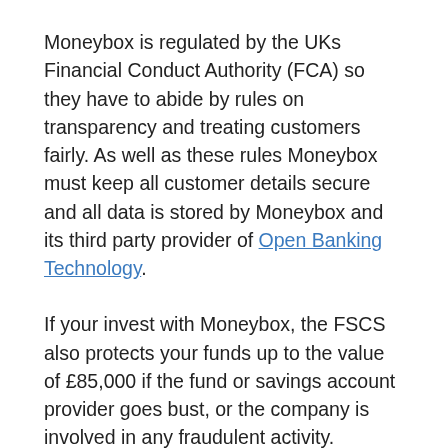Moneybox is regulated by the UKs Financial Conduct Authority (FCA) so they have to abide by rules on transparency and treating customers fairly. As well as these rules Moneybox must keep all customer details secure and all data is stored by Moneybox and its third party provider of Open Banking Technology.
If your invest with Moneybox, the FSCS also protects your funds up to the value of £85,000 if the fund or savings account provider goes bust, or the company is involved in any fraudulent activity.
Finally, as with all investment apps, the software used when logging into your account needs to be inline with Government regulations. The cybersecurity